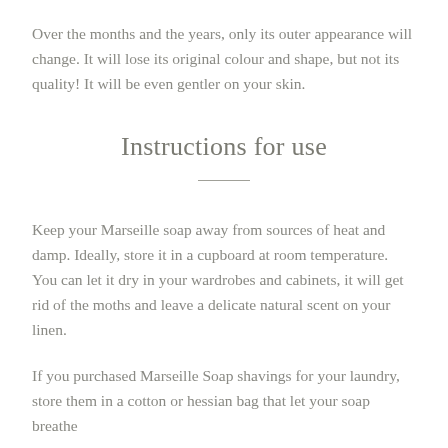Over the months and the years, only its outer appearance will change. It will lose its original colour and shape, but not its quality! It will be even gentler on your skin.
Instructions for use
Keep your Marseille soap away from sources of heat and damp. Ideally, store it in a cupboard at room temperature. You can let it dry in your wardrobes and cabinets, it will get rid of the moths and leave a delicate natural scent on your linen.
If you purchased Marseille Soap shavings for your laundry, store them in a cotton or hessian bag that let your soap breathe